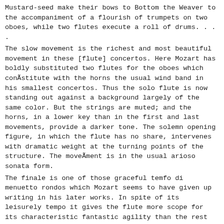Mustard-seed make their bows to Bottom the Weaver to the accompaniment of a flourish of trumpets on two oboes, while two flutes execute a roll of drums. . . .
The slow movement is the richest and most beautiful movement in these [flute] concertos. Here Mozart has boldly substituted two flutes for the oboes which conÃstitute with the horns the usual wind band in his smallest concertos. Thus the solo flute is now standing out against a background largely of the same color. But the strings are muted; and the horns, in a lower key than in the first and last movements, provide a darker tone. The solemn opening figure, in which the flute has no share, intervenes with dramatic weight at the turning points of the structure. The moveÃment is in the usual arioso sonata form.
The finale is one of those graceful temfo di menuetto rondos which Mozart seems to have given up writing in his later works. In spite of its leisurely tempo it gives the flute more scope for its characteristic fantastic agility than the rest of the work. It is broadly designed without any unusual features, and ends quitely, like almost all Mozart's examples in this tempo.f
Mass in C minor (K. 427)
In 1782 Mozart was in Vienna, eager for an opportunity to serve his EmÃperor and country. Ignored and neglected by both,t he